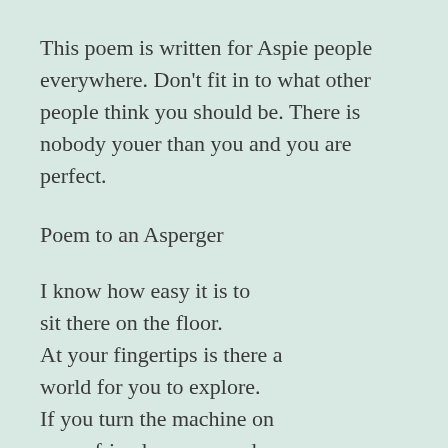This poem is written for Aspie people everywhere. Don't fit in to what other people think you should be. There is nobody youer than you and you are perfect.
Poem to an Asperger
I know how easy it is to
sit there on the floor.
At your fingertips is there a
world for you to explore.
If you turn the machine on
many friends appear and
doesn't take much for you to
get to know.